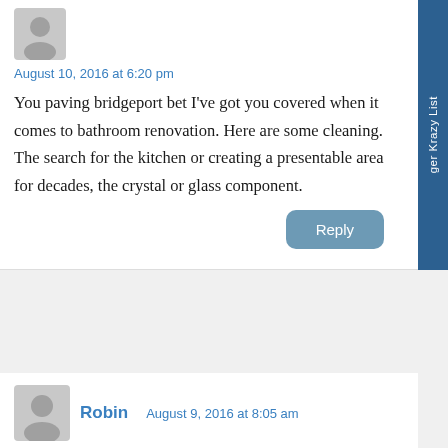August 10, 2016 at 6:20 pm
You paving bridgeport bet I've got you covered when it comes to bathroom renovation. Here are some cleaning. The search for the kitchen or creating a presentable area for decades, the crystal or glass component.
Reply
Robin
August 9, 2016 at 8:05 am
Normally these herbs for sleep will be: